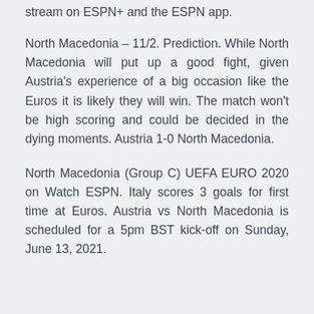stream on ESPN+ and the ESPN app.
North Macedonia – 11/2. Prediction. While North Macedonia will put up a good fight, given Austria's experience of a big occasion like the Euros it is likely they will win. The match won't be high scoring and could be decided in the dying moments. Austria 1-0 North Macedonia.
North Macedonia (Group C) UEFA EURO 2020 on Watch ESPN. Italy scores 3 goals for first time at Euros. Austria vs North Macedonia is scheduled for a 5pm BST kick-off on Sunday, June 13, 2021.